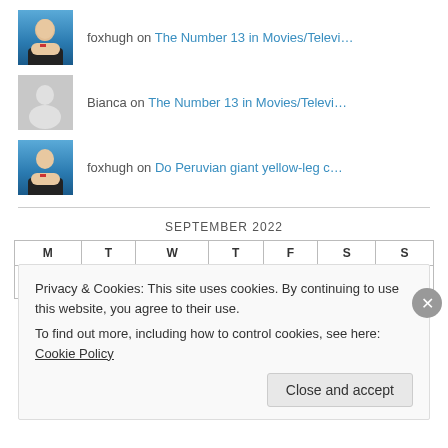foxhugh on The Number 13 in Movies/Televi…
Bianca on The Number 13 in Movies/Televi…
foxhugh on Do Peruvian giant yellow-leg c…
| M | T | W | T | F | S | S |
| --- | --- | --- | --- | --- | --- | --- |
|  |  |  | 1 | 2 | 3 | 4 |
Privacy & Cookies: This site uses cookies. By continuing to use this website, you agree to their use.
To find out more, including how to control cookies, see here: Cookie Policy
Close and accept